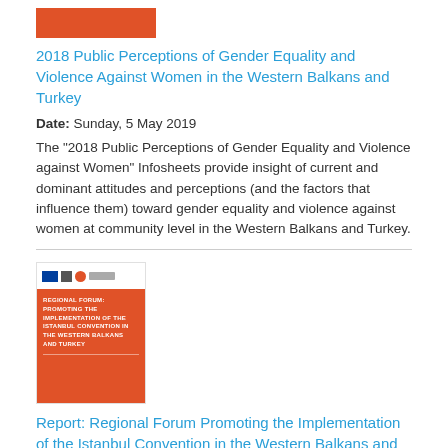[Figure (illustration): Orange/red rectangular thumbnail image for a report cover]
2018 Public Perceptions of Gender Equality and Violence Against Women in the Western Balkans and Turkey
Date: Sunday, 5 May 2019
The "2018 Public Perceptions of Gender Equality and Violence against Women" Infosheets provide insight of current and dominant attitudes and perceptions (and the factors that influence them) toward gender equality and violence against women at community level in the Western Balkans and Turkey.
[Figure (illustration): Orange report cover thumbnail with logos at top and white text reading: Regional Forum Promoting the Implementation of the Istanbul Convention in the Western Balkans and Turkey]
Report: Regional Forum Promoting the Implementation of the Istanbul Convention in the Western Balkans and Turkey
Date: Monday, 11 February 2019
This report presents a summary of the discussions held during the